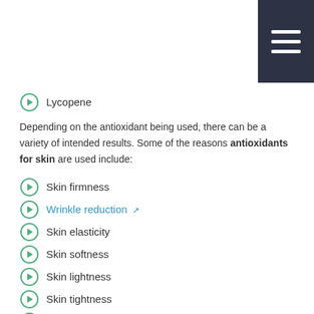[Figure (other): Dark navy hamburger menu button in top-right corner with three white horizontal lines]
Lycopene
Depending on the antioxidant being used, there can be a variety of intended results. Some of the reasons antioxidants for skin are used include:
Skin firmness
Wrinkle reduction
Skin elasticity
Skin softness
Skin lightness
Skin tightness
Smoothness of skin
What Skin Care Treatments are Right for Me?